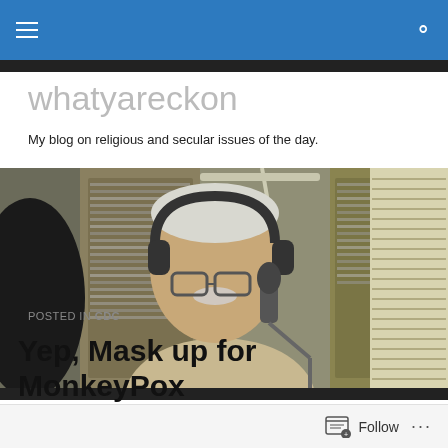whatyareckon — navigation bar with menu and search
whatyareckon
My blog on religious and secular issues of the day.
[Figure (photo): An older man with white hair and mustache wearing headphones and speaking into a microphone in a radio studio, with shelves of CDs visible in the background.]
POSTED IN CDC
Yep, Mask up for MonkeyPox
Follow  ...